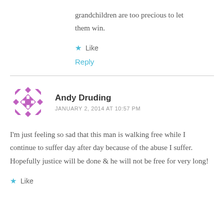grandchildren are too precious to let them win.
Like
Reply
Andy Druding
JANUARY 2, 2014 AT 10:57 PM
I'm just feeling so sad that this man is walking free while I continue to suffer day after day because of the abuse I suffer. Hopefully justice will be done & he will not be free for very long!
Like